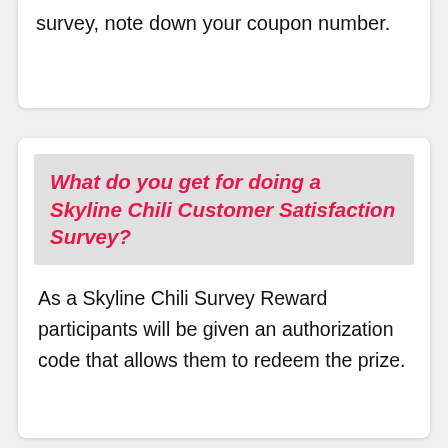survey, note down your coupon number.
What do you get for doing a Skyline Chili Customer Satisfaction Survey?
As a Skyline Chili Survey Reward participants will be given an authorization code that allows them to redeem the prize.